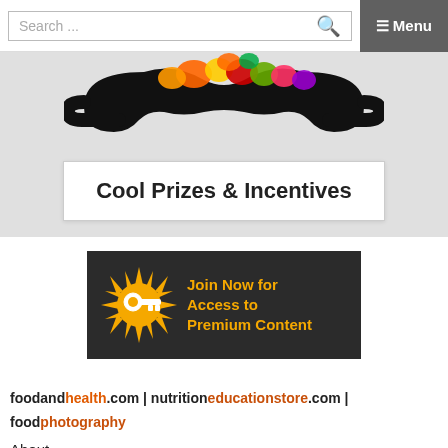Search ... ☰ Menu
[Figure (illustration): Masquerade mask decorated with colorful fruits and vegetables, black carnival mask shape]
Cool Prizes & Incentives
[Figure (illustration): Dark banner with orange sunburst and key icon, text: Join Now for Access to Premium Content]
foodandhealth.com | nutritioneducationstore.com | foodphotography
About